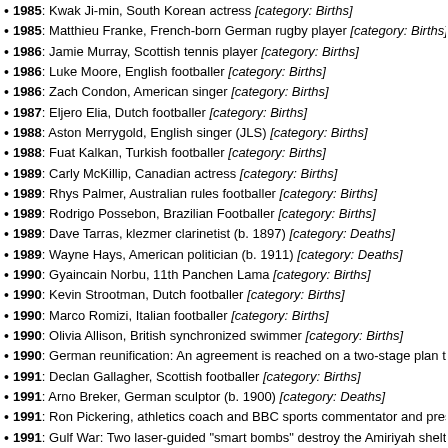1985: Kwak Ji-min, South Korean actress [category: Births]
1985: Matthieu Franke, French-born German rugby player [category: Births]
1986: Jamie Murray, Scottish tennis player [category: Births]
1986: Luke Moore, English footballer [category: Births]
1986: Zach Condon, American singer [category: Births]
1987: Eljero Elia, Dutch footballer [category: Births]
1988: Aston Merrygold, English singer (JLS) [category: Births]
1988: Fuat Kalkan, Turkish footballer [category: Births]
1989: Carly McKillip, Canadian actress [category: Births]
1989: Rhys Palmer, Australian rules footballer [category: Births]
1989: Rodrigo Possebon, Brazilian Footballer [category: Births]
1989: Dave Tarras, klezmer clarinetist (b. 1897) [category: Deaths]
1989: Wayne Hays, American politician (b. 1911) [category: Deaths]
1990: Gyaincain Norbu, 11th Panchen Lama [category: Births]
1990: Kevin Strootman, Dutch footballer [category: Births]
1990: Marco Romizi, Italian footballer [category: Births]
1990: Olivia Allison, British synchronized swimmer [category: Births]
1990: German reunification: An agreement is reached on a two-stage plan to reun
1991: Declan Gallagher, Scottish footballer [category: Births]
1991: Arno Breker, German sculptor (b. 1900) [category: Deaths]
1991: Ron Pickering, athletics coach and BBC sports commentator and presenter
1991: Gulf War: Two laser-guided "smart bombs" destroy the Amiriyah shelter in B outpost, but over 400 Iraqi civilians inside were killed. [category: Events]
1992: Raby George, Swedish footballer [category: Births]
1992: Nikolay Bogolyubov, Russian mathematician (b. 1909) [category: Deaths]
1993: Sophie Evans, Welsh musician [category: Births]
1994: Patryk Dobek, Polish sprinter [category: Births]
1995: Ayame Koike, Japanese actress [category: Births]
1996: Martin Balsam, American actor (b. 1919) [category: Deaths]
1997: Mark Krasnosel'skii, Russian-Ukrainian mathematician (b. 1920) [category:
1997: Robert Klark Graham, American businessman and eugenicist (b. 1906) [ca
2000: Anders Aalborg, Canadian politician (b. 1914) [category: Deaths]